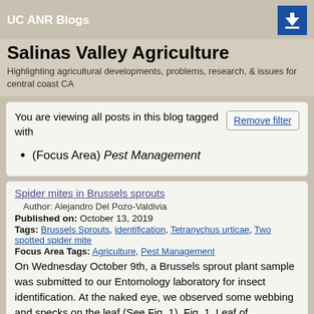UC ANR Blogs
Salinas Valley Agriculture
Highlighting agricultural developments, problems, research, & issues for central coast CA
You are viewing all posts in this blog tagged with
(Focus Area) Pest Management
Spider mites in Brussels sprouts
Author: Alejandro Del Pozo-Valdivia
Published on: October 13, 2019
Tags: Brussels Sprouts, identification, Tetranychus urticae, Two spotted spider mite
Focus Area Tags: Agriculture, Pest Management
On Wednesday October 9th, a Brussels sprout plant sample was submitted to our Entomology laboratory for insect identification. At the naked eye, we observed some webbing and specks on the leaf (See Fig. 1). Fig. 1. Leaf of...
Comments: 0
Read Post